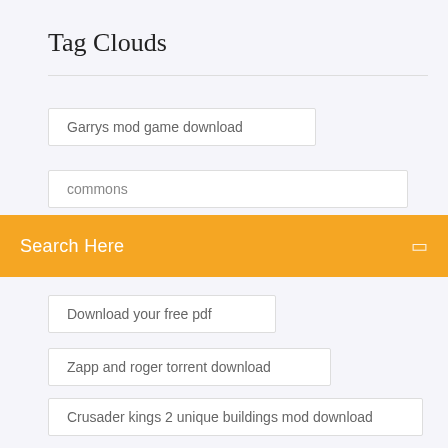Tag Clouds
Garrys mod game download
commons
Search Here
Download your free pdf
Zapp and roger torrent download
Crusader kings 2 unique buildings mod download
Der junge im gestreiften pyjama pdf download